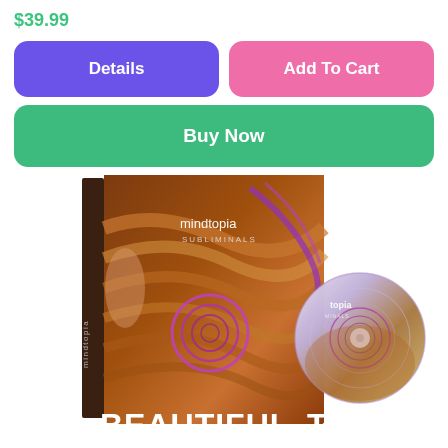$39.99
[Figure (screenshot): E-commerce product page UI with price $39.99, Details button (purple), Add To Cart button (pink), Buy Now button (green), and product image of Mindtopia Subliminals 'Beautiful Hair' DVD/CD package below.]